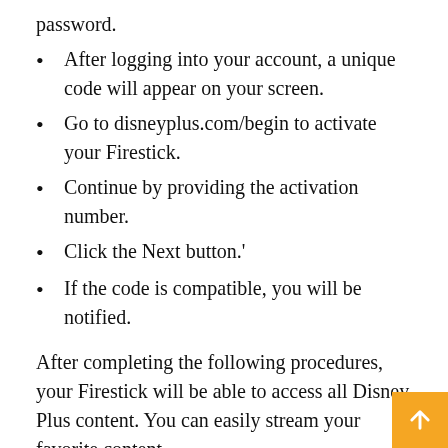password.
After logging into your account, a unique code will appear on your screen.
Go to disneyplus.com/begin to activate your Firestick.
Continue by providing the activation number.
Click the Next button.'
If the code is compatible, you will be notified.
After completing the following procedures, your Firestick will be able to access all Disney Plus content. You can easily stream your favorite content.
Disneyplus.com Features start
Disney Plus is a unique streaming platform with many fascinating features. Subtitles, high-quality audio/video and parental control are the most